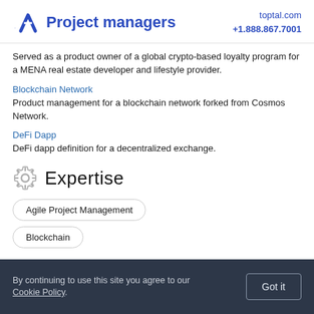Project managers | toptal.com +1.888.867.7001
Served as a product owner of a global crypto-based loyalty program for a MENA real estate developer and lifestyle provider.
Blockchain Network
Product management for a blockchain network forked from Cosmos Network.
DeFi Dapp
DeFi dapp definition for a decentralized exchange.
Expertise
Agile Project Management
Blockchain
By continuing to use this site you agree to our Cookie Policy. Got it